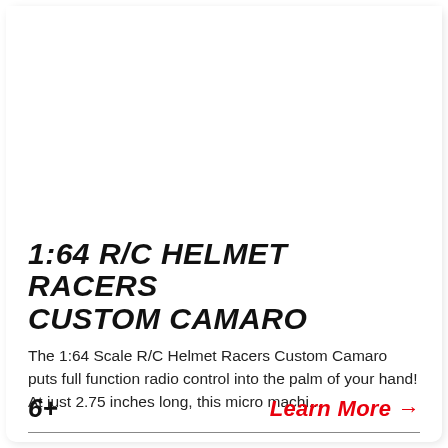[Figure (photo): Empty white image area at top of product card]
1:64 R/C HELMET RACERS CUSTOM CAMARO
The 1:64 Scale R/C Helmet Racers Custom Camaro puts full function radio control into the palm of your hand! At just 2.75 inches long, this micro machi...
6+
Learn More →